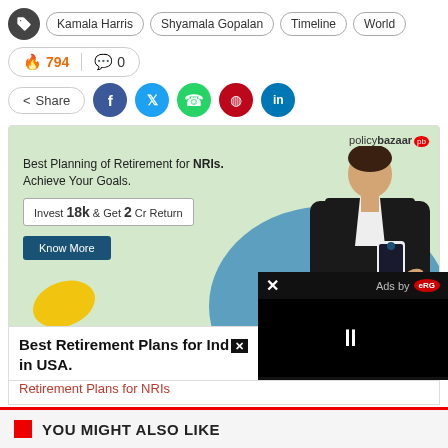Kamala Harris | Shyamala Gopalan | Timeline | World
794 | 0
Share | Facebook | Twitter | WhatsApp | Pinterest | LinkedIn
[Figure (screenshot): PolicyBazaar advertisement: Best Planning of Retirement for NRIs. Achieve Your Goals. Invest 18k & Get 2 Cr Return. Know More button. Man in suit holding phone.]
Best Retirement Plans for Indians in USA.
Retirement Plans for NRIs
[Figure (screenshot): Video popup overlay showing X close button, Ads by logo, and pause button on black background.]
YOU MIGHT ALSO LIKE